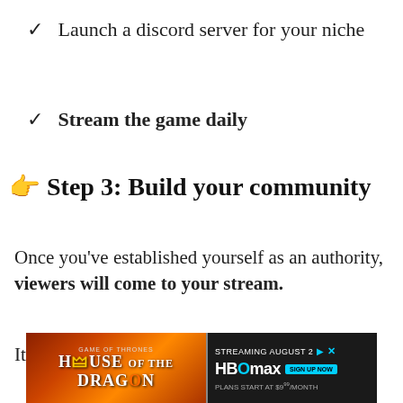✓  Launch a discord server for your niche
✓  Stream the game daily
👉 Step 3: Build your community
Once you've established yourself as an authority, viewers will come to your stream.
It is then your turn, to turn those
[Figure (photo): Advertisement banner for HBO Max showing House of the Dragon streaming promotion]